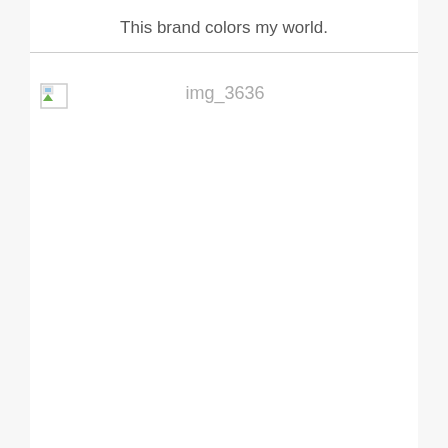This brand colors my world.
[Figure (photo): Broken image placeholder with alt text 'img_3636']